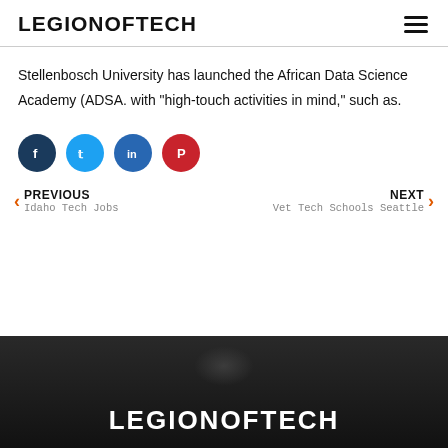LEGIONOFTECH
Stellenbosch University has launched the African Data Science Academy (ADSA. with “high-touch activities in mind,” such as.
[Figure (infographic): Four social share buttons: Facebook (dark navy), Twitter (blue), LinkedIn (blue), Pinterest (red), each a circle with an icon.]
PREVIOUS Idaho Tech Jobs
NEXT Vet Tech Schools Seattle
[Figure (photo): Dark background image with the LEGIONOFTECH logo text in white at the bottom center, with a blurred tech/equipment scene in the background.]